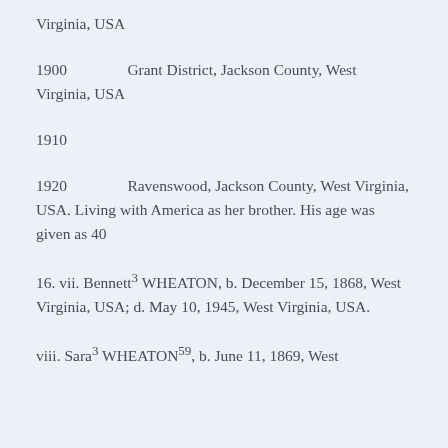Virginia, USA
1900    Grant District, Jackson County, West Virginia, USA
1910
1920    Ravenswood, Jackson County, West Virginia, USA. Living with America as her brother. His age was given as 40
16. vii. Bennett3 WHEATON, b. December 15, 1868, West Virginia, USA; d. May 10, 1945, West Virginia, USA.
viii. Sara3 WHEATON59, b. June 11, 1869, West...